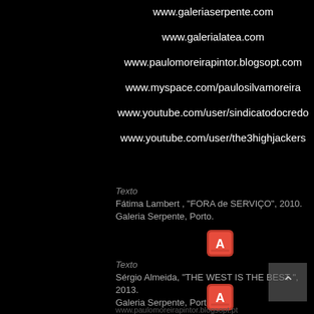www.galeriaserpente.com
www.galerialatea.com
www.paulomoreirapintor.blogsopt.com
www.myspace.com/paulosilvamoreira
www.youtube.com/user/sindicatodocredo
www.youtube.com/user/the3highjackers
Texto
Fátima Lambert , "FORA de SERVIÇO", 2010.
Galeria Serpente, Porto.
[Figure (other): Adobe Acrobat PDF icon - red icon with white A symbol]
Texto
Sérgio Almeida, "THE WEST IS THE BEST ", 2013.
Galeria Serpente, Porto
[Figure (other): Adobe Acrobat PDF icon - red icon with white A symbol]
www.paulomoreirapintor.blogsopt.pt